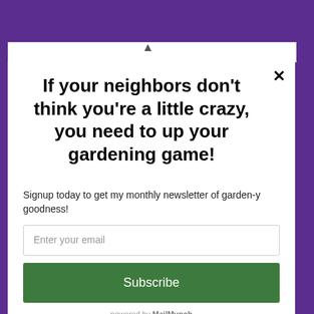If your neighbors don't think you're a little crazy, you need to up your gardening game!
Signup today to get my monthly newsletter of garden-y goodness!
Enter your email
Subscribe
powered by MailMunch